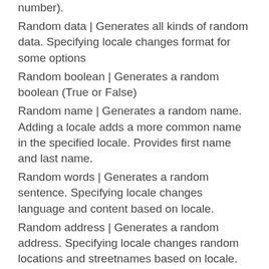number).
Random data | Generates all kinds of random data. Specifying locale changes format for some options
Random boolean | Generates a random boolean (True or False)
Random name | Generates a random name. Adding a locale adds a more common name in the specified locale. Provides first name and last name.
Random words | Generates a random sentence. Specifying locale changes language and content based on locale.
Random address | Generates a random address. Specifying locale changes random locations and streetnames based on locale.
Random beep | Generates a random beep, only works on Windows
Random date | Generates a random date.
Today's date | Generates today's date.
Generate unique identifier | Generates a random